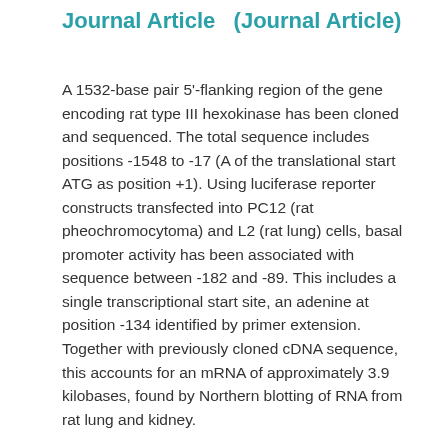Journal Article   (Journal Article)
A 1532-base pair 5'-flanking region of the gene encoding rat type III hexokinase has been cloned and sequenced. The total sequence includes positions -1548 to -17 (A of the translational start ATG as position +1). Using luciferase reporter constructs transfected into PC12 (rat pheochromocytoma) and L2 (rat lung) cells, basal promoter activity has been associated with sequence between -182 and -89. This includes a single transcriptional start site, an adenine at position -134 identified by primer extension. Together with previously cloned cDNA sequence, this accounts for an mRNA of approximately 3.9 kilobases, found by Northern blotting of RNA from rat lung and kidney.